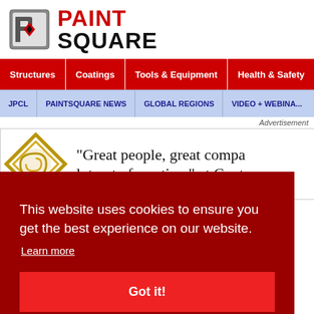[Figure (logo): PaintSquare logo with icon on left and PAINT SQUARE text on right]
Structures | Coatings | Tools & Equipment | Health & Safety
JPCL | PAINTSQUARE NEWS | GLOBAL REGIONS | VIDEO + WEBINARS
Advertisement
[Figure (screenshot): Banner advertisement with gold diamond logo and text: "Great people, great compa... lot out of our time" at Contr...]
This website uses cookies to ensure you get the best experience on our website.
Learn more
Got it!